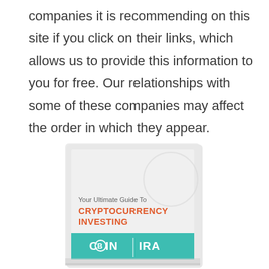companies it is recommending on this site if you click on their links, which allows us to provide this information to you for free. Our relationships with some of these companies may affect the order in which they appear.
[Figure (illustration): Book cover for 'Your Ultimate Guide To CRYPTOCURRENCY INVESTING' by COIN IRA, displayed in a plastic sleeve/packaging. The cover has a light grey background with a teal/green banner at the bottom showing the COIN IRA logo with a Bitcoin symbol.]